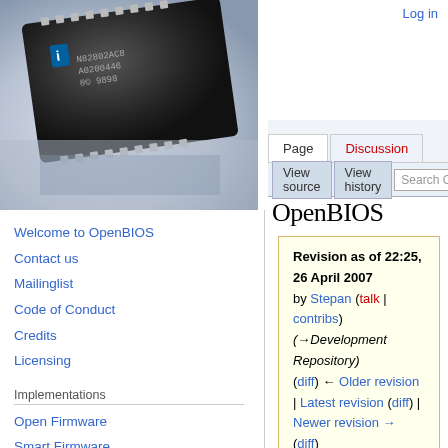[Figure (photo): Close-up photo of an integrated circuit chip (microchip) on a white/blue gradient background]
Log in | Page | Discussion | View source | View history | Search
OpenBIOS
Revision as of 22:25, 26 April 2007 by Stepan (talk | contribs) (→Development Repository) (diff) ← Older revision | Latest revision (diff) | Newer revision → (diff)
Welcome to OpenBIOS
Contact us
Mailinglist
Code of Conduct
Credits
Licensing
Implementations
Open Firmware
Smart Firmware
OpenBOOT
OpenBIOS
SLOF
Contents [hide]
1 OpenBIOS - Code Releases
2 OpenBIOS
2.1 Kernel
3 Development Environment
3.1 FCode Suite
3.1.1 detok
3.1.2 toke